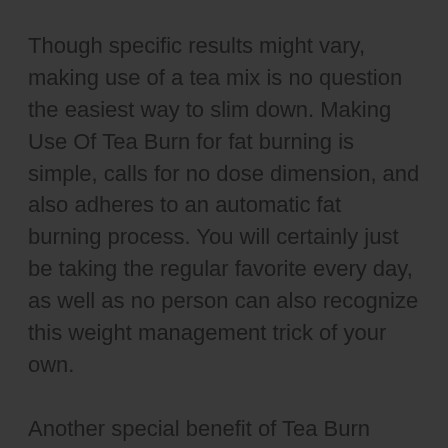Though specific results might vary, making use of a tea mix is no question the easiest way to slim down. Making Use Of Tea Burn for fat burning is simple, calls for no dose dimension, and also adheres to an automatic fat burning process. You will certainly just be taking the regular favorite every day, as well as no person can also recognize this weight management trick of your own.
Another special benefit of Tea Burn weight loss powder is its protective effect on the teeth. Generally, tea and also coffee users experience yellowing teeth and high levels of caffeine discolorations that make their smiles look bad. But the ingredients in this supplement normalize the effects of tannins from the tea, which is behind